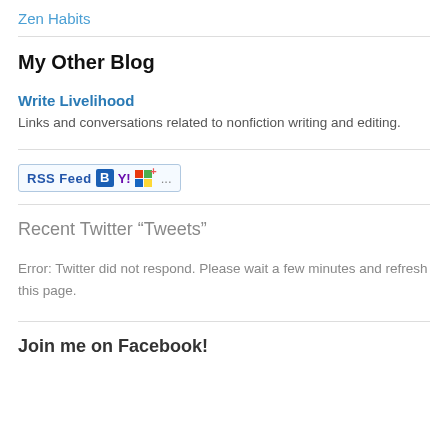Zen Habits
My Other Blog
Write Livelihood
Links and conversations related to nonfiction writing and editing.
[Figure (other): RSS Feed subscription widget with icons for Bloglines, Yahoo, Windows Live, and more (...)]
Recent Twitter “Tweets”
Error: Twitter did not respond. Please wait a few minutes and refresh this page.
Join me on Facebook!